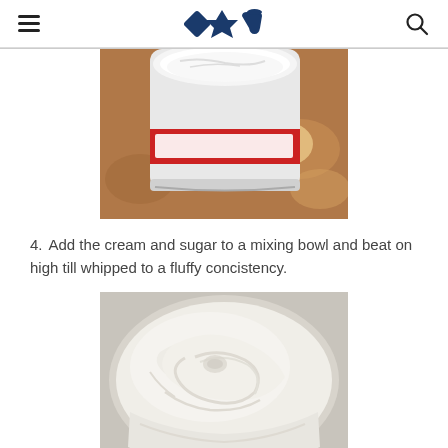[hamburger menu] [logo icons] [search icon]
[Figure (photo): Top-down view of a container of powdered sugar on a granite countertop]
4. Add the cream and sugar to a mixing bowl and beat on high till whipped to a fluffy concistency.
[Figure (photo): Whipped cream in a mixing bowl showing fluffy consistency]